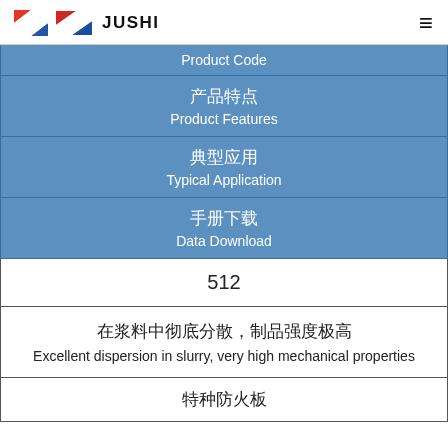JUSHI
| Product Code | 产品特点 Product Features | 典型应用 Typical Application | 手册下载 Data Download | 512 | 在浆料中彻底分散，制品强度极高 Excellent dispersion in slurry, very high mechanical properties | 特种防火板 |
| --- | --- | --- | --- | --- | --- | --- |
| Product Code |
| 产品特点
Product Features |
| 典型应用
Typical Application |
| 手册下载
Data Download |
| 512 |
| 在浆料中彻底分散，制品强度极高
Excellent dispersion in slurry, very high mechanical properties |
| 特种防火板 |